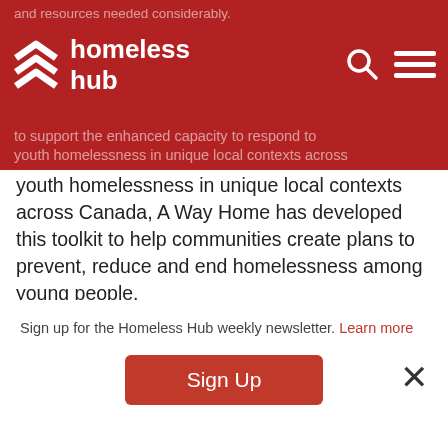and resources needed considerably.
homeless hub
to support the enhanced capacity to respond to youth homelessness in unique local contexts across
youth homelessness in unique local contexts across Canada, A Way Home has developed this toolkit to help communities create plans to prevent, reduce and end homelessness among young people.
This toolkit:
Outlines the key elements of a systems approach to prevent, reduce and end youth homelessness using best and promising
Sign up for the Homeless Hub weekly newsletter. Learn more